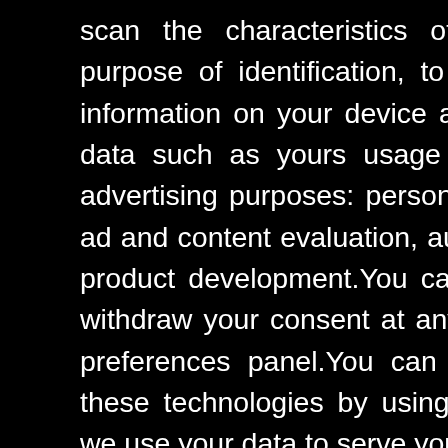of what him all
unique tuation ds that trength is.
sages, will be
scan the characteristics of your device for the purpose of identification, to store and / or access information on your device and to process personal data such as yours usage data, for the following advertising purposes: personalized ads and content, ad and content evaluation, audience observation and product development.You can freely lend, refuse or withdraw your consent at any time by accessing the preferences panel.You can consent to the use of these technologies by using the Accept button.Can we use your data to serve you personalized ads?
Read more about your privacy HERE
Decline
Got it !
Tags: